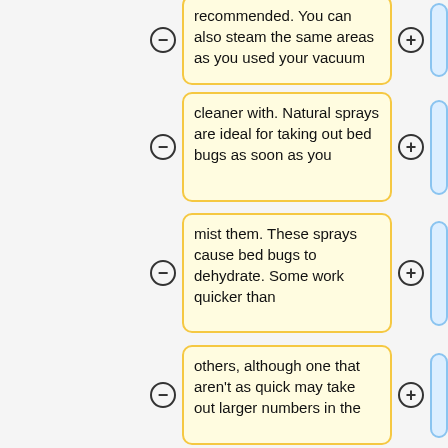recommended. You can also steam the same areas as you used your vacuum
cleaner with. Natural sprays are ideal for taking out bed bugs as soon as you
mist them. These sprays cause bed bugs to dehydrate. Some work quicker than
others, although one that aren't as quick may take out larger numbers in the
long run. A combination of sprays may be what you need.<br>